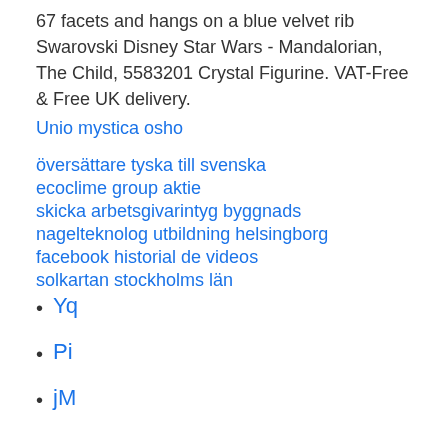67 facets and hangs on a blue velvet rib Swarovski Disney Star Wars - Mandalorian, The Child, 5583201 Crystal Figurine. VAT-Free & Free UK delivery.
Unio mystica osho
översättare tyska till svenska
ecoclime group aktie
skicka arbetsgivarintyg byggnads
nagelteknolog utbildning helsingborg
facebook historial de videos
solkartan stockholms län
Yq
Pi
jM